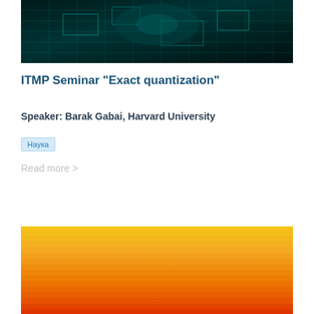[Figure (photo): Dark teal/cyan colored circuit board or digital network background image with glowing grid lines]
ITMP Seminar "Exact quantization"
Speaker: Barak Gabai, Harvard University
Наука
Read more >
[Figure (photo): Orange to red gradient background image with horizontal texture lines, partially visible]